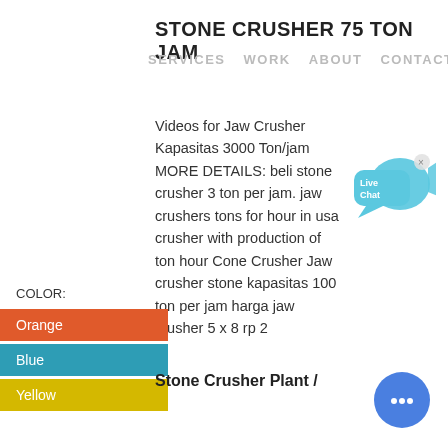STONE CRUSHER 75 TON JAM
SERVICES   WORK      ABOUT   CONTACT
Videos for Jaw Crusher Kapasitas 3000 Ton/jam MORE DETAILS: beli stone crusher 3 ton per jam. jaw crushers tons for hour in usa crusher with production of ton hour Cone Crusher Jaw crusher stone kapasitas 100 ton per jam harga jaw crusher 5 x 8 rp 2 ...
[Figure (illustration): Live Chat speech bubble icon with blue fish/chat graphic and X close button]
COLOR:
Orange
Blue
Yellow
Stone Crusher Plant /
[Figure (illustration): Round blue chat button with ellipsis dots at bottom right corner]